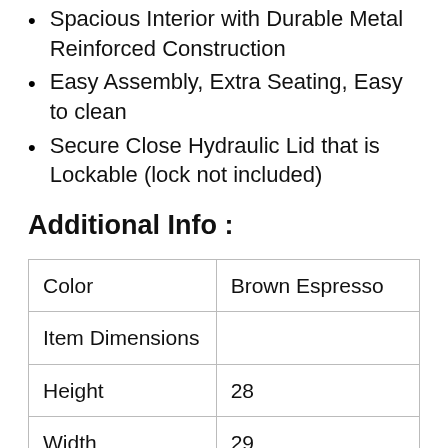Spacious Interior with Durable Metal Reinforced Construction
Easy Assembly, Extra Seating, Easy to clean
Secure Close Hydraulic Lid that is Lockable (lock not included)
Additional Info :
| Color | Brown Espresso |
| Item Dimensions |  |
| Height | 28 |
| Width | 29 |
| Length | 62 |